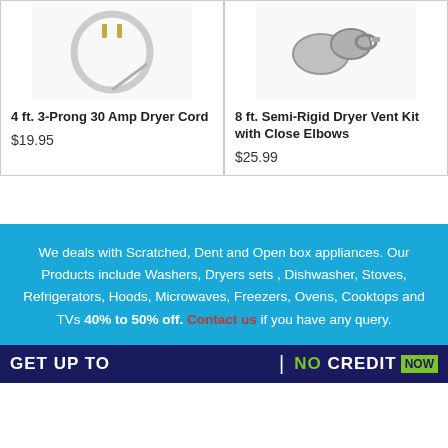[Figure (photo): Product photo of 4 ft. 3-Prong 30 Amp Dryer Cord on white background]
4 ft. 3-Prong 30 Amp Dryer Cord
$19.95
[Figure (photo): Product photo of 8 ft. Semi-Rigid Dryer Vent Kit with Close Elbows on white background]
8 ft. Semi-Rigid Dryer Vent Kit with Close Elbows
$25.99
We deals with Scratched, Dent and Open box appliances. Our Products include Washers, Dryers sets , Dishwasher, Stoves, Refrigerators, Hoods, Microwaves, Freezers, Ovens, Cooktops and TVs 40% to 50% off. Contact us if you have any query.
GET UP TO | NO CREDIT